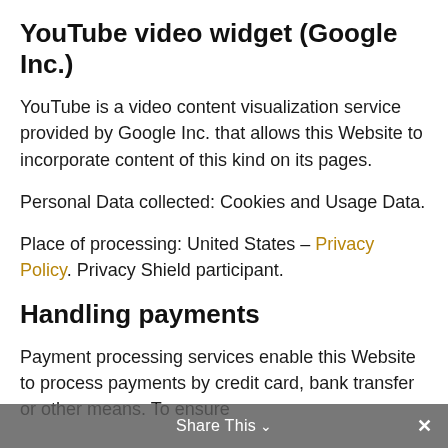YouTube video widget (Google Inc.)
YouTube is a video content visualization service provided by Google Inc. that allows this Website to incorporate content of this kind on its pages.
Personal Data collected: Cookies and Usage Data.
Place of processing: United States – Privacy Policy. Privacy Shield participant.
Handling payments
Payment processing services enable this Website to process payments by credit card, bank transfer or other means. To ensure
Share This ×